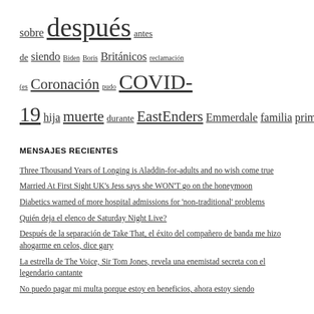sobre después antes de siendo Biden Boris Británicos reclamación (es Coronación pudo COVID-19 hija muerte durante EastEnders Emmerdale familia primero encontró vacaciones horóscopo marido Dentro isla Islas Kardashian Katie delicado aspecto McGregor momento precio revela Ronaldo Comparte muestra golpea spoilers calle su transferir espectadores Dónde mujer años
MENSAJES RECIENTES
Three Thousand Years of Longing is Aladdin-for-adults and no wish come true
Married At First Sight UK's Jess says she WON'T go on the honeymoon
Diabetics warned of more hospital admissions for 'non-traditional' problems
Quién deja el elenco de Saturday Night Live?
Después de la separación de Take That, el éxito del compañero de banda me hizo ahogarme en celos, dice gary
La estrella de The Voice, Sir Tom Jones, revela una enemistad secreta con el legendario cantante
No puedo pagar mi multa porque estoy en beneficios, ahora estoy siendo